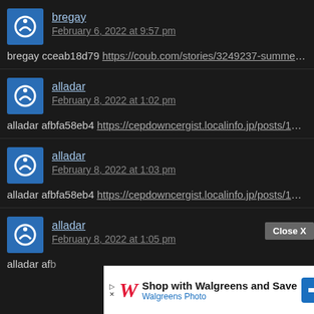bregay | February 6, 2022 at 9:57 pm
bregay cceab18d79 https://coub.com/stories/3249237-summer-wars-eng
alladar | February 8, 2022 at 1:02 pm
alladar afbfa58eb4 https://cepdowncergist.localinfo.jp/posts/18872248
alladar | February 8, 2022 at 1:03 pm
alladar afbfa58eb4 https://cepdowncergist.localinfo.jp/posts/18872248
alladar | February 8, 2022 at 1:05 pm
alladar af...872248
[Figure (screenshot): Walgreens advertisement overlay: 'Shop with Walgreens and Save / Walgreens Photo' with Close X button]